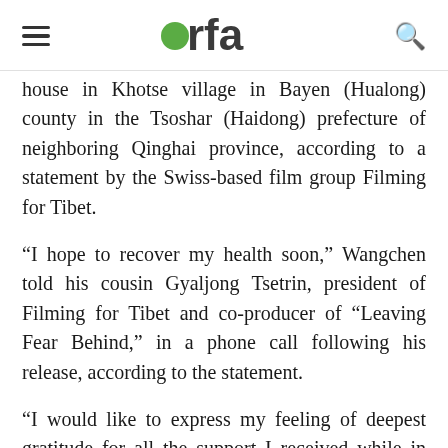rfa
house in Khotse village in Bayen (Hualong) county in the Tsoshar (Haidong) prefecture of neighboring Qinghai province, according to a statement by the Swiss-based film group Filming for Tibet.
“I hope to recover my health soon,” Wangchen told his cousin Gyaljong Tsetrin, president of Filming for Tibet and co-producer of “Leaving Fear Behind,” in a phone call following his release, according to the statement.
“I would like to express my feeling of deepest gratitude for all the support I received while in prison and I want to be reunited with my